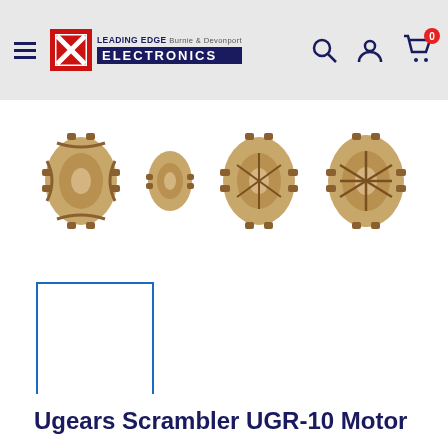Leading Edge Electronics Burnie & Devonport
[Figure (photo): Four off-road tire/wheel assemblies shown in a horizontal strip at the top of the product page]
[Figure (photo): Selected product thumbnail with blue border outline, empty/white interior]
Ugears Scrambler UGR-10 Motor